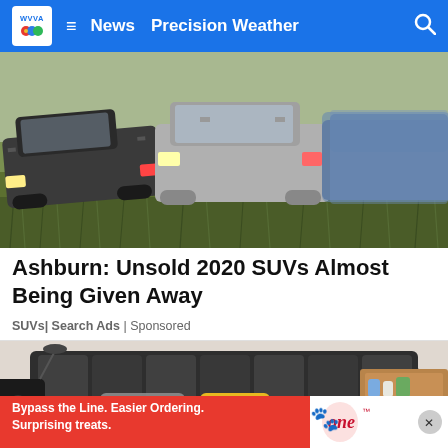WVVA | News | Precision Weather
[Figure (photo): Unsold SUVs and trucks parked in a grassy field/lot, multiple vehicles visible including dark, silver, and blue colored SUVs]
Ashburn: Unsold 2020 SUVs Almost Being Given Away
SUVs| Search Ads | Sponsored
[Figure (photo): A luxury smart bed with built-in speakers, reading lamp, wooden side shelves, and a yellow decorative pillow]
Bypass the Line. Easier Ordering. Surprising treats.